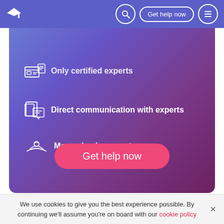Get help now
[Figure (screenshot): Gradient hero banner with icons listing: Only certified experts, Direct communication with experts, Money back guarantee, and a pink Get help now button]
Only certified experts
Direct communication with experts
Money back guarantee
Use Of Forensics With Dna Trailing
We use cookies to give you the best experience possible. By continuing we'll assume you're on board with our cookie policy